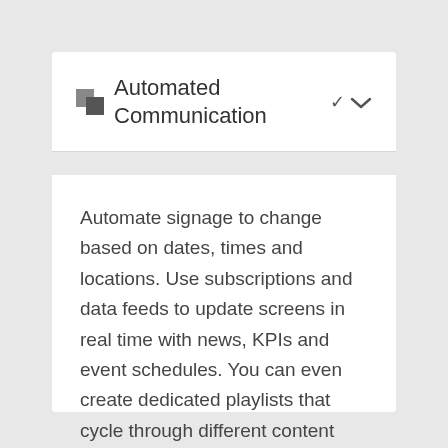Automated Communication
Automate signage to change based on dates, times and locations. Use subscriptions and data feeds to update screens in real time with news, KPIs and event schedules. You can even create dedicated playlists that cycle through different content and alerts based on different triggering events.